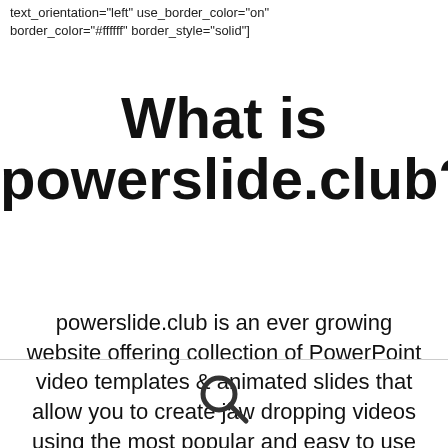text_orientation="left" use_border_color="on" border_color="#ffffff" border_style="solid"]
What is powerslide.club?
powerslide.club is an ever growing website offering collection of PowerPoint video templates & animated slides that allow you to create jaw dropping videos using the most popular and easy to use PowerPoint software.
[Figure (illustration): Search/magnifying glass icon]